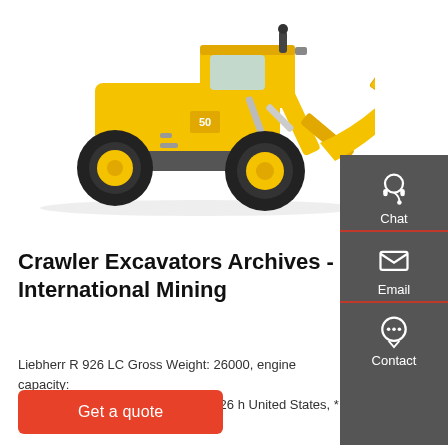[Figure (photo): Yellow Liebherr wheel loader / crawler excavator on white background, large front bucket with teeth, large black tires]
[Figure (infographic): Dark grey side panel with three contact icons: Chat (headset icon), Email (envelope icon), Contact (speech bubble with dots icon), each separated by a red underline]
Crawler Excavators Archives - International Mining
Liebherr R 926 LC Gross Weight: 26000, engine capacity: 175.391. Crawler excavators 2015 26 h United States, * PORTSMOUTH
Get a quote